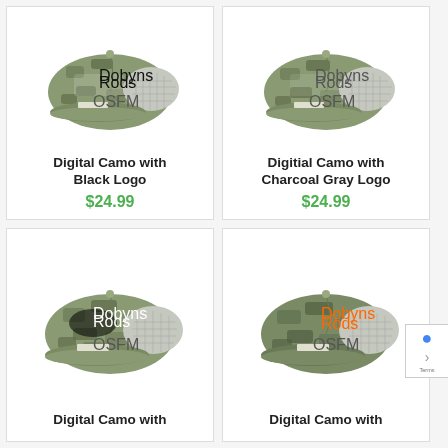[Figure (photo): Digital Camo with Black Logo trucker cap - green digital camouflage pattern with gray mesh back and black Dobyns Rods logo]
Digital Camo with Black Logo
$24.99
[Figure (photo): Digitial Camo with Charcoal Gray Logo trucker cap - green digital camouflage pattern with gray mesh back and charcoal gray Dobyns Rods logo]
Digitial Camo with Charcoal Gray Logo
$24.99
[Figure (photo): Digital Camo trucker cap - green digital camouflage pattern with gray mesh back and white/black Dobyns Rods logo]
Digital Camo with
[Figure (photo): Digital Camo trucker cap - green digital camouflage pattern with gray mesh back and orange Dobyns Rods logo]
Digital Camo with